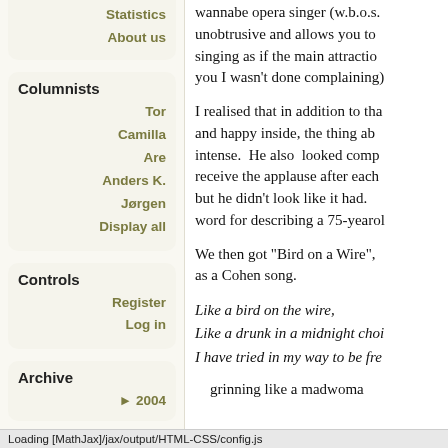Statistics
About us
Columnists
Tor
Camilla
Are
Anders K.
Jørgen
Display all
Controls
Register
Log in
Archive
► 2004
wannabe opera singer (w.b.o.s. unobtrusive and allows you to singing as if the main attraction you I wasn't done complaining)
I realised that in addition to that and happy inside, the thing ab intense. He also looked comp receive the applause after each but he didn't look like it had. word for describing a 75-yearol
We then got "Bird on a Wire", as a Cohen song.
Like a bird on the wire,
Like a drunk in a midnight choi
I have tried in my way to be fre
grinning like a madwoma
Loading [MathJax]/jax/output/HTML-CSS/config.js